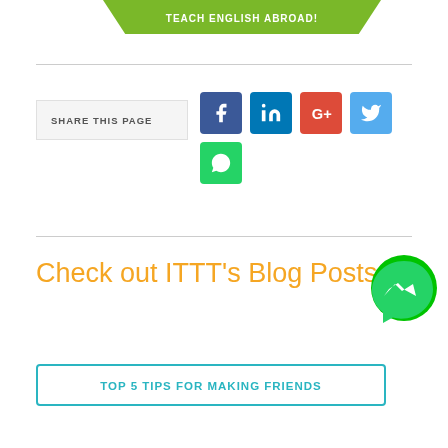[Figure (infographic): Green banner with text TEACH ENGLISH ABROAD!]
SHARE THIS PAGE
[Figure (infographic): Social media share buttons: Facebook, LinkedIn, Google+, Twitter, WhatsApp]
Check out ITTT's Blog Posts
[Figure (illustration): Green Facebook Messenger bubble icon]
TOP 5 TIPS FOR MAKING FRIENDS